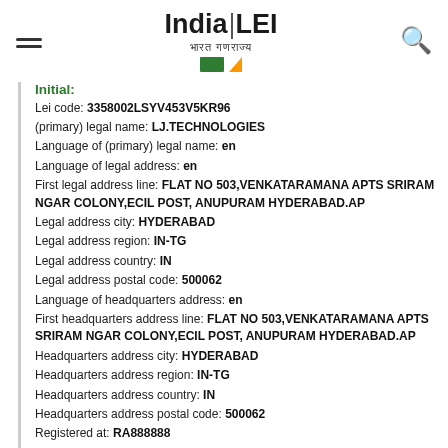India LEI — भारत गणराज्य
Initial:
Lei code: 3358002LSYV453V5KR96
(primary) legal name: LJ.TECHNOLOGIES
Language of (primary) legal name: en
Language of legal address: en
First legal address line: FLAT NO 503,VENKATARAMANA APTS SRIRAM NGAR COLONY,ECIL POST, ANUPURAM HYDERABAD.AP
Legal address city: HYDERABAD
Legal address region: IN-TG
Legal address country: IN
Legal address postal code: 500062
Language of headquarters address: en
First headquarters address line: FLAT NO 503,VENKATARAMANA APTS SRIRAM NGAR COLONY,ECIL POST, ANUPURAM HYDERABAD.AP
Headquarters address city: HYDERABAD
Headquarters address region: IN-TG
Headquarters address country: IN
Headquarters address postal code: 500062
Registered at: RA888888
Registered as: 0906001021
Jurisdiction of formation: IN
General category: SOLE_PROPRIETOR